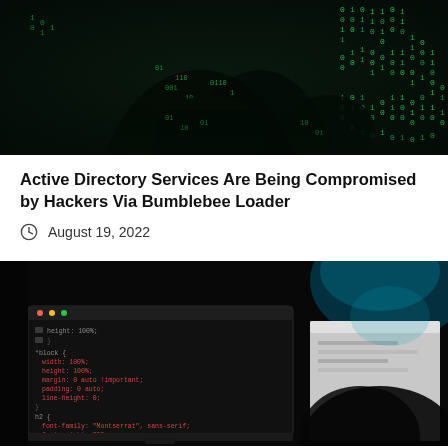[Figure (photo): Dark hacker image showing a figure with glowing green binary code (0s and 1s) overlaid on a dark background, matrix-style digital rain effect]
Active Directory Services Are Being Compromised by Hackers Via Bumblebee Loader
August 19, 2022
[Figure (photo): Dark photo of computer monitors showing code editor with red and white syntax-highlighted CSS/code, teal glow in background, dark room ambiance]